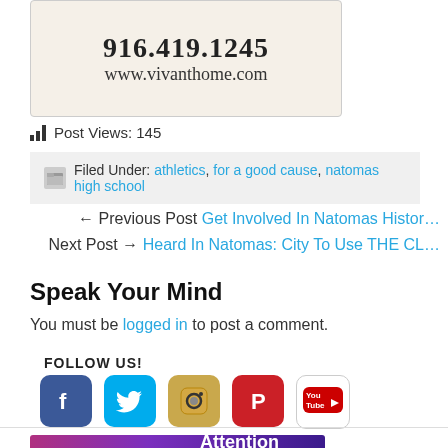[Figure (other): Advertisement image showing phone number 916.419.1245 and website www.vivanthome.com on a torn paper style background]
Post Views: 145
Filed Under: athletics, for a good cause, natomas high school
← Previous Post Get Involved In Natomas Histor…
Next Post → Heard In Natomas: City To Use THE CL…
Speak Your Mind
You must be logged in to post a comment.
FOLLOW US!
[Figure (illustration): Social media icons: Facebook, Twitter, Instagram, Pinterest, YouTube]
[Figure (illustration): Bottom advertisement banner with purple/pink gradient showing 'Attention Nto...' text]